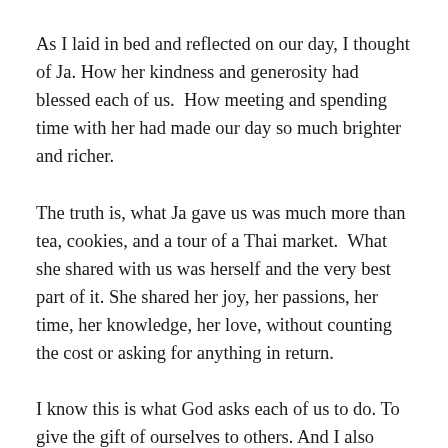As I laid in bed and reflected on our day, I thought of Ja. How her kindness and generosity had blessed each of us.  How meeting and spending time with her had made our day so much brighter and richer.
The truth is, what Ja gave us was much more than tea, cookies, and a tour of a Thai market.  What she shared with us was herself and the very best part of it. She shared her joy, her passions, her time, her knowledge, her love, without counting the cost or asking for anything in return.
I know this is what God asks each of us to do. To give the gift of ourselves to others. And I also know that I don't always do this. Sometimes I'm just selfish or I think I don't have anything of value to offer anyone else...